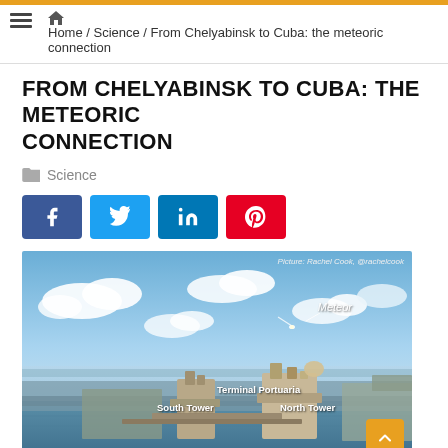Home / Science / From Chelyabinsk to Cuba: the meteoric connection
FROM CHELYABINSK TO CUBA: THE METEORIC CONNECTION
Science
[Figure (photo): Photograph of Havana harbor with annotated meteor trail in sky above, and labeled landmarks: Terminal Portuaria, South Tower, North Tower. Credit: Rachel Cook, @rachelcook]
Picture: Rachel Cook, @rachelcook. Labels: Meteor, Terminal Portuaria, South Tower, North Tower